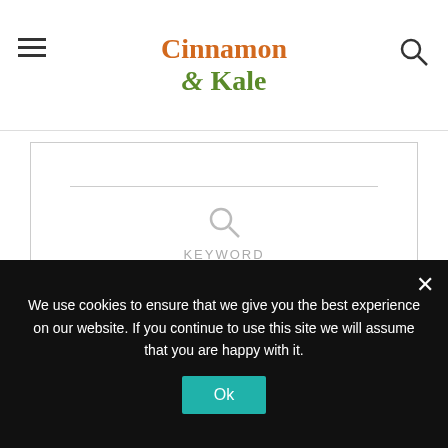Cinnamon & Kale
KEYWORD
Brunch, Gluten free, Healthy
Nutrition Facts
Servings: 2
We use cookies to ensure that we give you the best experience on our website. If you continue to use this site we will assume that you are happy with it.